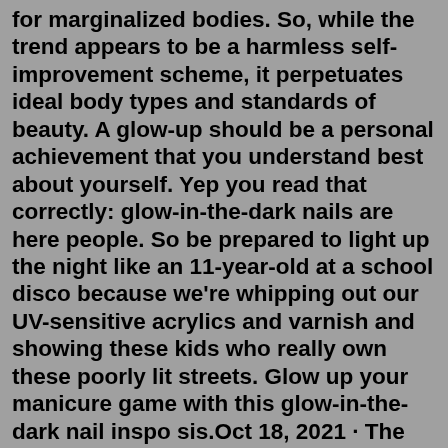for marginalized bodies. So, while the trend appears to be a harmless self-improvement scheme, it perpetuates ideal body types and standards of beauty. A glow-up should be a personal achievement that you understand best about yourself. Yep you read that correctly: glow-in-the-dark nails are here people. So be prepared to light up the night like an 11-year-old at a school disco because we're whipping out our UV-sensitive acrylics and varnish and showing these kids who really own these poorly lit streets. Glow up your manicure game with this glow-in-the-dark nail inspo sis.Oct 18, 2021 · The efforts have paid off, as over half of the beauty and personal care products being sold in the U.S. are currently paraben-free, with the growth rate continuing to outpace the total category (+3.6% vs +2.0%). NielsenIQ defines truly clean beauty products as those that are free from all the following: parabens, sulfates, phthalates ... Jan 16, 2021 · A glow up is an incredible transformation. By levelling up all aspects of your life, taking